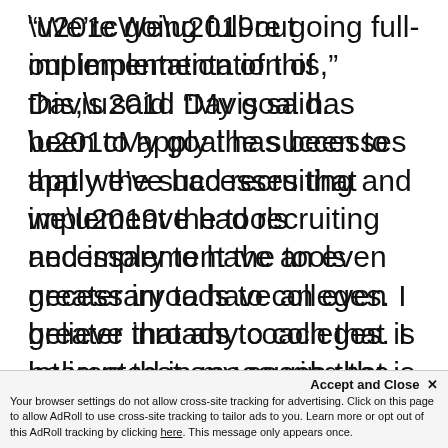“We’re going full-out implementation of this,” Davis said. “My goal has been to apply the successes that we’ve had recruiting and implement the tools necessary to have an even greater inroads to colleges. I believe that any coach that is interested in measuring the performance of their players and having the players measure their performance in an objective environment should start today.”
Accept and Close × Your browser settings do not allow cross-site tracking for advertising. Click on this page to allow AdRoll to use cross-site tracking to tailor ads to you. Learn more or opt out of this AdRoll tracking by clicking here. This message only appears once.